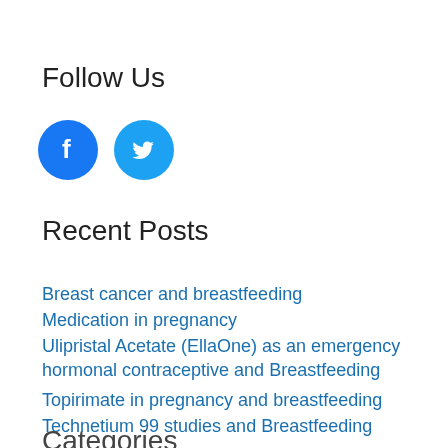Follow Us
[Figure (illustration): Two circular social media icons: Facebook (blue circle with white 'f' logo) and Twitter (light blue circle with white bird logo)]
Recent Posts
Breast cancer and breastfeeding
Medication in pregnancy
Ulipristal Acetate (EllaOne) as an emergency hormonal contraceptive and Breastfeeding
Topirimate in pregnancy and breastfeeding
Technetium 99 studies and Breastfeeding
Categories